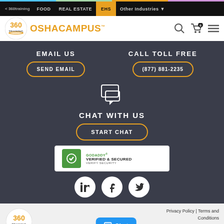< 360training  FOOD  REAL ESTATE  EHS  Other Industries
[Figure (logo): 360 Training OSHA Campus logo with navigation icons]
EMAIL US
SEND EMAIL
CALL TOLL FREE
(877) 881-2235
[Figure (illustration): Chat speech bubble icon]
CHAT WITH US
START CHAT
[Figure (illustration): GoDaddy Verified & Secured badge]
[Figure (illustration): Social media icons: LinkedIn, Facebook, Twitter]
Privacy Policy | Terms and Conditions  ©2022 360training  Chat